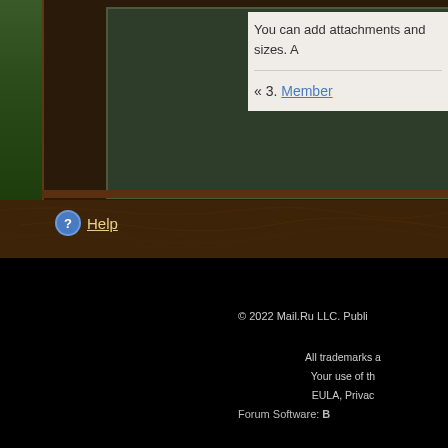[Figure (screenshot): Dark green text editor or compose box panel with brown wooden frame/border texture]
You can add attachments and sizes. A
« 3. Member
Help
© 2022 Mail.Ru LLC. Publi
All trademarks a Your use of th EULA, Privac
Forum Software: B